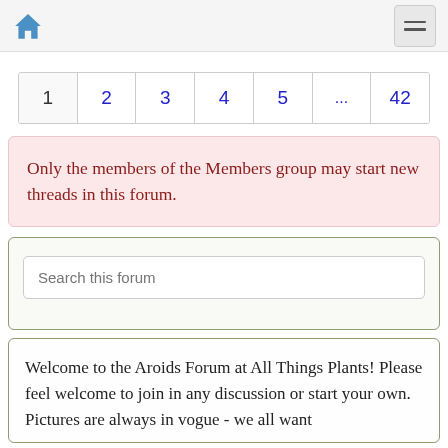Home | Menu
1 2 3 4 5 ... 42
Only the members of the Members group may start new threads in this forum.
Search this forum
Welcome to the Aroids Forum at All Things Plants! Please feel welcome to join in any discussion or start your own. Pictures are always in vogue - we all want